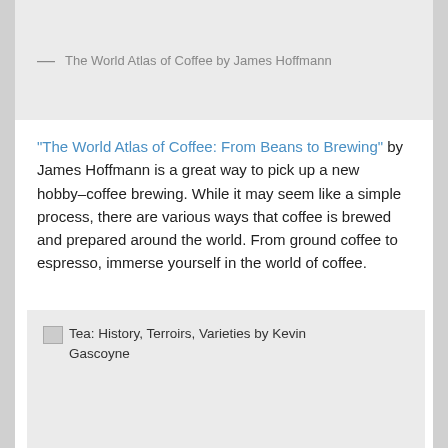— The World Atlas of Coffee by James Hoffmann
"The World Atlas of Coffee: From Beans to Brewing" by James Hoffmann is a great way to pick up a new hobby–coffee brewing. While it may seem like a simple process, there are various ways that coffee is brewed and prepared around the world. From ground coffee to espresso, immerse yourself in the world of coffee.
[Figure (photo): Image placeholder showing alt text: Tea: History, Terroirs, Varieties by Kevin Gascoyne]